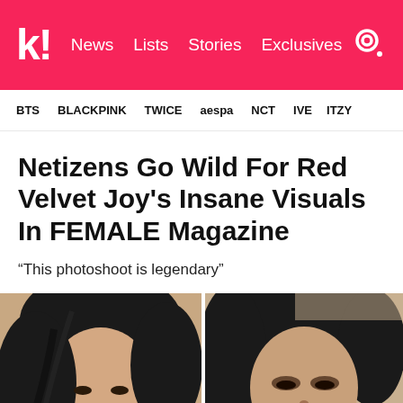k! News Lists Stories Exclusives
BTS BLACKPINK TWICE aespa NCT IVE ITZY
Netizens Go Wild For Red Velvet Joy's Insane Visuals In FEMALE Magazine
“This photoshoot is legendary”
[Figure (photo): Two side-by-side photos of Red Velvet Joy from FEMALE Magazine photoshoot, showing close-up portraits with dark hair]